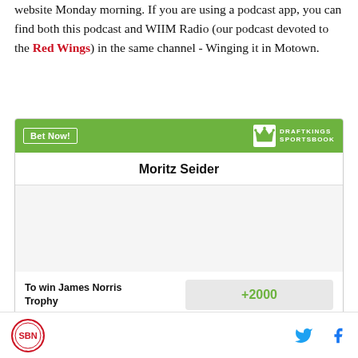website Monday morning. If you are using a podcast app, you can find both this podcast and WIIM Radio (our podcast devoted to the Red Wings) in the same channel - Winging it in Motown.
[Figure (infographic): DraftKings Sportsbook bet widget for Moritz Seider. Shows 'Bet Now!' button on green header with DraftKings Sportsbook logo. Player name: Moritz Seider. Bet: To win James Norris Trophy. Odds: +2000.]
SB Nation logo, Twitter icon, Facebook icon